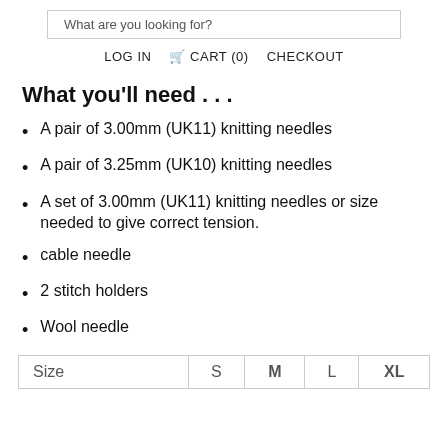What are you looking for?
LOG IN  🛒 CART (0)  CHECKOUT
What you'll need . . .
A pair of 3.00mm (UK11) knitting needles
A pair of 3.25mm (UK10) knitting needles
A set of 3.00mm (UK11) knitting needles or size needed to give correct tension.
cable needle
2 stitch holders
Wool needle
| Size | S | M | L | XL |
| --- | --- | --- | --- | --- |